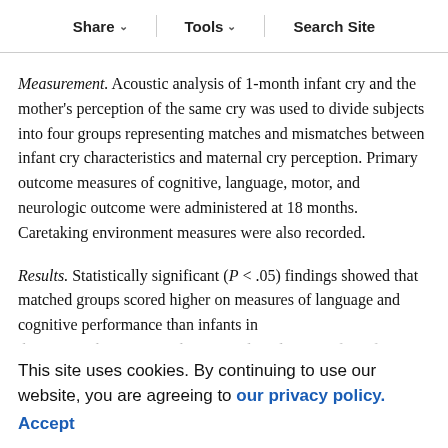Share | Tools | Search Site
Patients. The 131 term and preterm infants and their mothers were selected to meet medical criteria.
Measurement. Acoustic analysis of 1-month infant cry and the mother's perception of the same cry was used to divide subjects into four groups representing matches and mismatches between infant cry characteristics and maternal cry perception. Primary outcome measures of cognitive, language, motor, and neurologic outcome were administered at 18 months. Caretaking environment measures were also recorded.
Results. Statistically significant (P < .05) findings showed that matched groups scored higher on measures of language and cognitive performance than infants in
the mismatch groups, with a particular advantage for infants in the matched group in which mothers accurately perceived the higher-pitched cries of their infants. There were no differences between the groups
This site uses cookies. By continuing to use our website, you are agreeing to our privacy policy. Accept